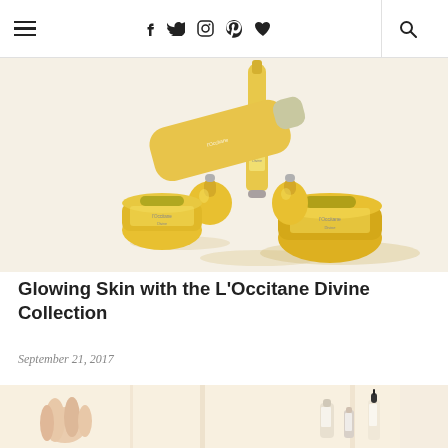Navigation header with hamburger menu, social icons (f, twitter, instagram, pinterest, heart), and search
[Figure (photo): Flat lay of L'Occitane Divine Collection skincare products in yellow and gold packaging on a white background with shadows]
Glowing Skin with the L'Occitane Divine Collection
September 21, 2017
[Figure (photo): Close-up of hands and skincare bottles in a bright minimal setting]